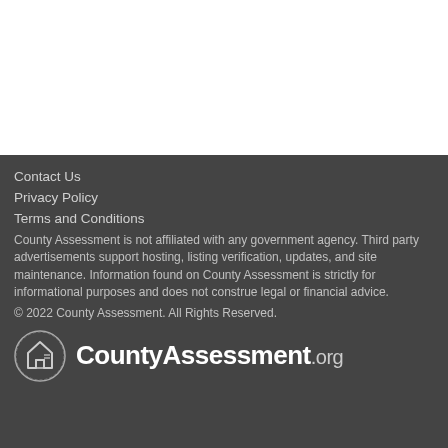[Figure (other): White blank top section of the page]
Contact Us
Privacy Policy
Terms and Conditions
County Assessment is not affiliated with any government agency. Third party advertisements support hosting, listing verification, updates, and site maintenance. Information found on County Assessment is strictly for informational purposes and does not construe legal or financial advice.
© 2022 County Assessment. All Rights Reserved.
[Figure (logo): CountyAssessment.org logo with circular house/document icon on the left and bold white text 'CountyAssessment.org' on the right]